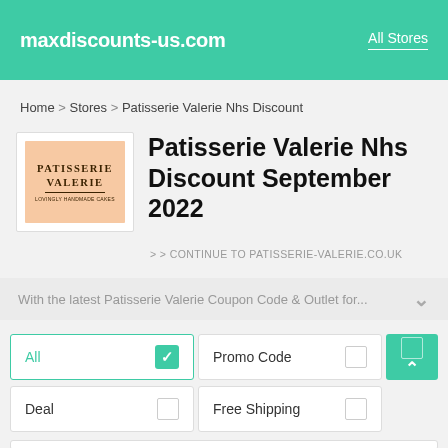maxdiscounts-us.com   All Stores
Home > Stores > Patisserie Valerie Nhs Discount
[Figure (logo): Patisserie Valerie logo — pink/peach background with brown serif text PATISSERIE VALERIE, lovingly handmade cakes]
Patisserie Valerie Nhs Discount September 2022
> > CONTINUE TO PATISSERIE-VALERIE.CO.UK
With the latest Patisserie Valerie Coupon Code & Outlet for...
All  ✓   Promo Code   Deal   Free Shipping